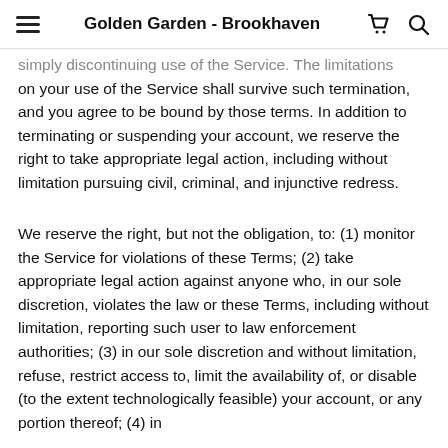Golden Garden - Brookhaven
simply discontinuing use of the Service. The limitations on your use of the Service shall survive such termination, and you agree to be bound by those terms. In addition to terminating or suspending your account, we reserve the right to take appropriate legal action, including without limitation pursuing civil, criminal, and injunctive redress.
We reserve the right, but not the obligation, to: (1) monitor the Service for violations of these Terms; (2) take appropriate legal action against anyone who, in our sole discretion, violates the law or these Terms, including without limitation, reporting such user to law enforcement authorities; (3) in our sole discretion and without limitation, refuse, restrict access to, limit the availability of, or disable (to the extent technologically feasible) your account, or any portion thereof; (4) in